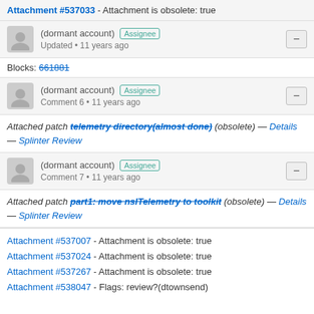Attachment #537033 - Attachment is obsolete: true
(dormant account) Assignee Updated • 11 years ago
Blocks: 661881
(dormant account) Assignee Comment 6 • 11 years ago
Attached patch telemetry directory(almost done) (obsolete) — Details — Splinter Review
(dormant account) Assignee Comment 7 • 11 years ago
Attached patch part1: move nsITelemetry to toolkit (obsolete) — Details — Splinter Review
Attachment #537007 - Attachment is obsolete: true
Attachment #537024 - Attachment is obsolete: true
Attachment #537267 - Attachment is obsolete: true
Attachment #538047 - Flags: review?(dtownsend)